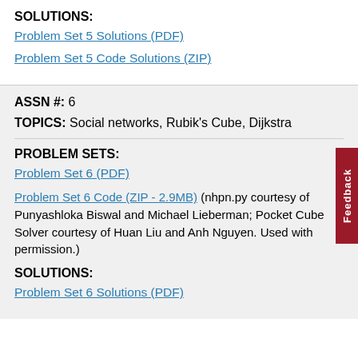SOLUTIONS:
Problem Set 5 Solutions (PDF)
Problem Set 5 Code Solutions (ZIP)
ASSN #: 6
TOPICS: Social networks, Rubik's Cube, Dijkstra
PROBLEM SETS:
Problem Set 6 (PDF)
Problem Set 6 Code (ZIP - 2.9MB) (nhpn.py courtesy of Punyashloka Biswal and Michael Lieberman; Pocket Cube Solver courtesy of Huan Liu and Anh Nguyen. Used with permission.)
SOLUTIONS:
Problem Set 6 Solutions (PDF)